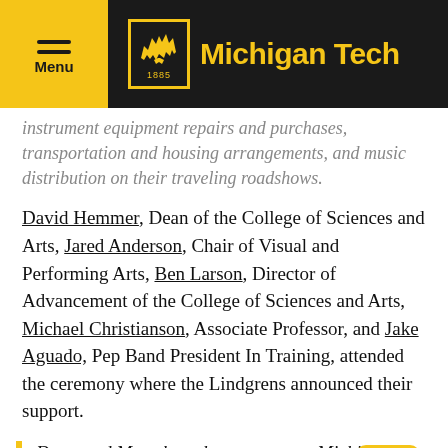Michigan Tech
instrument equipment repairs and purchases, transportation and housing arrangements, and music distribution on their traveling roadshows.
David Hemmer, Dean of the College of Sciences and Arts, Jared Anderson, Chair of Visual and Performing Arts, Ben Larson, Director of Advancement of the College of Sciences and Arts, Michael Christianson, Associate Professor, and Jake Aguado, Pep Band President In Training, attended the ceremony where the Lindgrens announced their support.
Doug and Mary have been generous Michigan Tech supporters for more than 45 years. While the